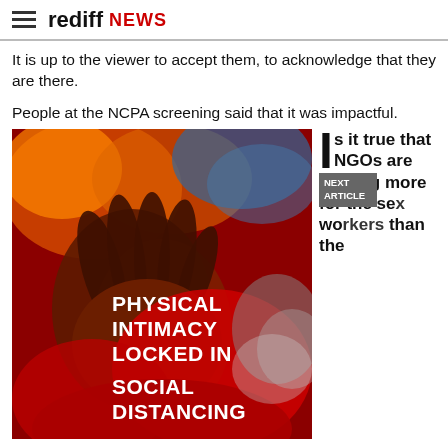rediff NEWS
It is up to the viewer to accept them, to acknowledge that they are there.
People at the NCPA screening said that it was impactful.
[Figure (photo): Promotional image with clasped hands on red background, text overlay reading 'PHYSICAL INTIMACY LOCKED IN SOCIAL DISTANCING']
Is it true that NGOs are doing more for the sex workers than the
NEXT ARTICLE